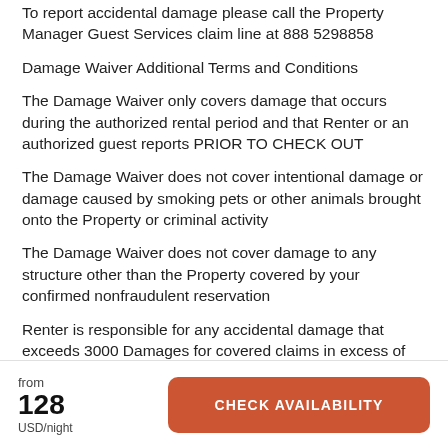To report accidental damage please call the Property Manager Guest Services claim line at 888 5298858
Damage Waiver Additional Terms and Conditions
The Damage Waiver only covers damage that occurs during the authorized rental period and that Renter or an authorized guest reports PRIOR TO CHECK OUT
The Damage Waiver does not cover intentional damage or damage caused by smoking pets or other animals brought onto the Property or criminal activity
The Damage Waiver does not cover damage to any structure other than the Property covered by your confirmed nonfraudulent reservation
Renter is responsible for any accidental damage that exceeds 3000 Damages for covered claims in excess of
from 128 USD/night  CHECK AVAILABILITY